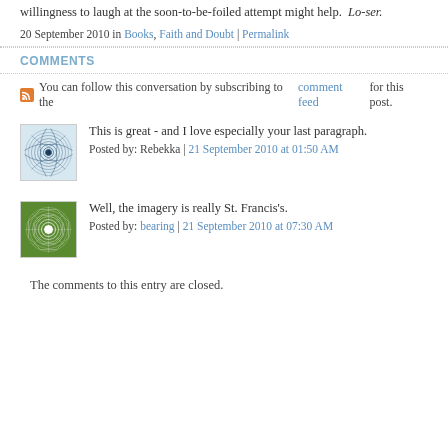willingness to laugh at the soon-to-be-foiled attempt might help.  Lo-ser.
20 September 2010 in Books, Faith and Doubt | Permalink
COMMENTS
You can follow this conversation by subscribing to the comment feed for this post.
This is great - and I love especially your last paragraph.
Posted by: Rebekka | 21 September 2010 at 01:50 AM
Well, the imagery is really St. Francis's.
Posted by: bearing | 21 September 2010 at 07:30 AM
The comments to this entry are closed.